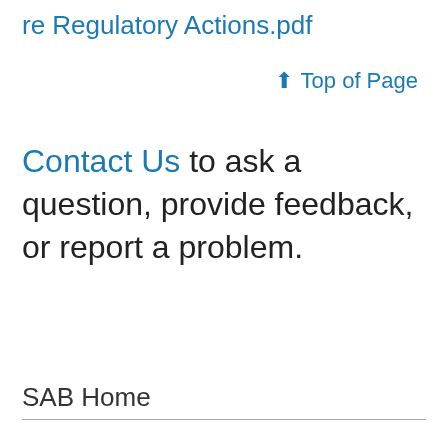re Regulatory Actions.pdf
↑ Top of Page
Contact Us to ask a question, provide feedback, or report a problem.
SAB Home